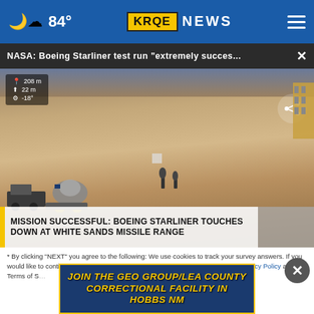84° KRQE NEWS
NASA: Boeing Starliner test run "extremely succes...
[Figure (screenshot): Aerial video screenshot showing Boeing Starliner capsule on desert ground at White Sands with recovery vehicles, HUD overlay showing altitude 208m, 22m, -18°, share button visible]
MISSION SUCCESSFUL: BOEING STARLINER TOUCHES DOWN AT WHITE SANDS MISSILE RANGE
* By clicking "NEXT" you agree to the following: We use cookies to track your survey answers. If you would like to continue with this survey please read and agree to the CivicScience Privacy Policy and Terms of S...
JOIN THE GEO GROUP/LEA COUNTY CORRECTIONAL FACILITY IN HOBBS NM